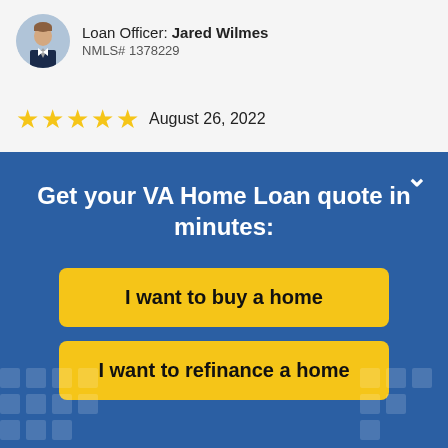Loan Officer: Jared Wilmes
NMLS# 1378229
[Figure (infographic): Five gold star rating with date August 26, 2022]
Get your VA Home Loan quote in minutes:
I want to buy a home
I want to refinance a home